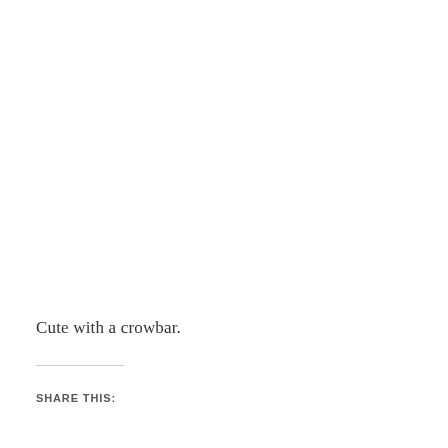Cute with a crowbar.
SHARE THIS: